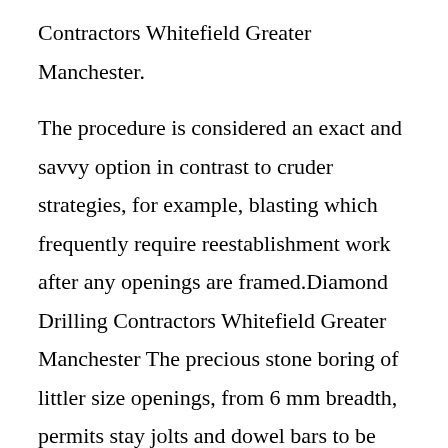Contractors Whitefield Greater Manchester.
The procedure is considered an exact and savvy option in contrast to cruder strategies, for example, blasting which frequently require reestablishment work after any openings are framed.Diamond Drilling Contractors Whitefield Greater Manchester The precious stone boring of littler size openings, from 6 mm breadth, permits stay jolts and dowel bars to be joined to structures. Bigger openings, up to 1200 mm in distance